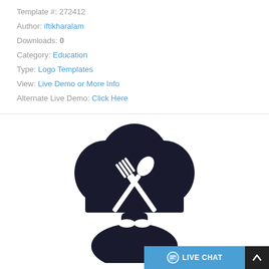Template #: 272412
Author: iftikharalam
Downloads: 0
Category: Education
Type: Logo Templates
View: Live Demo or More Info
Alternate Live Demo: Click Here
[Figure (logo): Chef logo with black chef hat featuring crossed fork and spoon in white, with a mustached chef figure below]